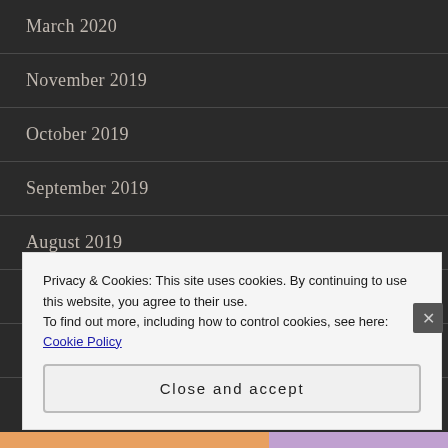March 2020
November 2019
October 2019
September 2019
August 2019
July 2019
June 2019
Privacy & Cookies: This site uses cookies. By continuing to use this website, you agree to their use.
To find out more, including how to control cookies, see here: Cookie Policy
Close and accept